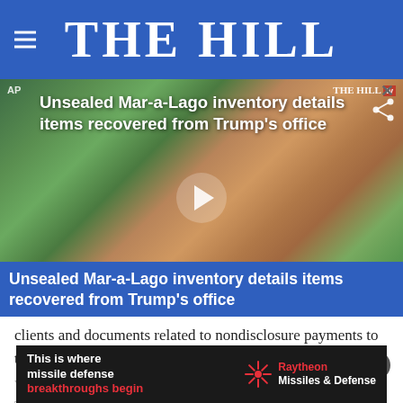THE HILL
[Figure (screenshot): Video thumbnail showing aerial view of Mar-a-Lago estate with headline 'Unsealed Mar-a-Lago inventory details items recovered from Trump's office' overlaid. Play button visible. THE HILL TV logo in top right corner.]
clients and documents related to nondisclosure payments to two women — including adult film star Stormy Daniels — who alleged they had affairs with Trump
[Figure (infographic): Advertisement banner: 'This is where missile defense breakthroughs begin' with Raytheon Missiles & Defense logo]